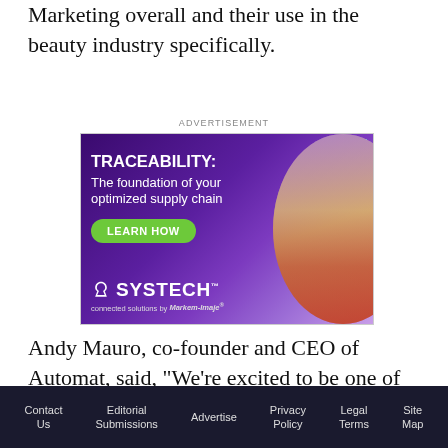Marketing overall and their use in the beauty industry specifically.
ADVERTISEMENT
[Figure (infographic): Systech traceability advertisement showing bold white text 'TRACEABILITY: The foundation of your optimized supply chain' with a green 'LEARN HOW' button and Systech logo on a purple background with a woman holding a product on the right side.]
Andy Mauro, co-founder and CEO of Automat, said, "We're excited to be one of the first members of
Contact Us   Editorial Submissions   Advertise   Privacy Policy   Legal Terms   Site Map